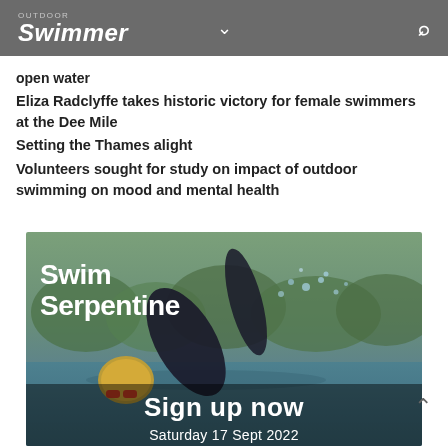OUTDOOR Swimmer
open water
Eliza Radclyffe takes historic victory for female swimmers at the Dee Mile
Setting the Thames alight
Volunteers sought for study on impact of outdoor swimming on mood and mental health
[Figure (photo): Swim Serpentine event advertisement showing a swimmer in open water with text 'Swim Serpentine', 'Sign up now', and 'Saturday 17 Sept 2022']